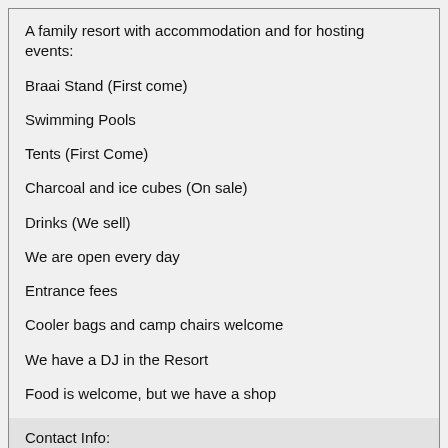A family resort with accommodation and for hosting events:
Braai Stand (First come)
Swimming Pools
Tents (First Come)
Charcoal and ice cubes (On sale)
Drinks (We sell)
We are open every day
Entrance fees
Cooler bags and camp chairs welcome
We have a DJ in the Resort
Food is welcome, but we have a shop
Contact Info:
Accommodation – 012 343 3623 or 082 551 7870
mooiplaats@tshinakie.co.za
location: Google maps or Whatsapp for location